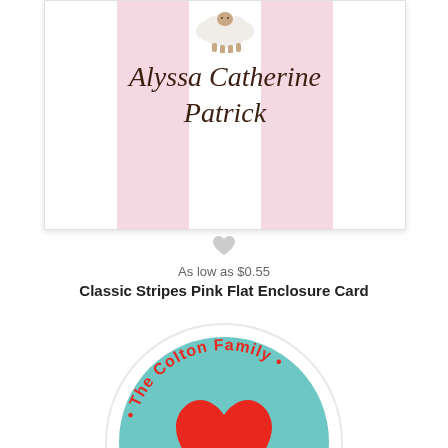[Figure (illustration): A personalized enclosure card with pink and white vertical stripes, a small lamb/sheep illustration at top, and the name 'Alyssa Catherine Patrick' in dark brown italic script.]
[Figure (illustration): A small gray heart icon used as a favorite/wishlist button beneath the first product card.]
As low as $0.55
Classic Stripes Pink Flat Enclosure Card
[Figure (illustration): A circular address label sticker with a teal/aqua background, a large red heart in the center, and red curved text reading 'The Colton Family' along the top arc and '80201 • ... • 5932' along the bottom arc.]